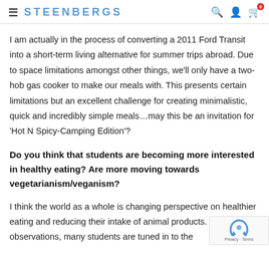STEENBERGS
I am actually in the process of converting a 2011 Ford Transit into a short-term living alternative for summer trips abroad. Due to space limitations amongst other things, we'll only have a two-hob gas cooker to make our meals with. This presents certain limitations but an excellent challenge for creating minimalistic, quick and incredibly simple meals…may this be an invitation for 'Hot N Spicy-Camping Edition'?
Do you think that students are becoming more interested in healthy eating? Are more moving towards vegetarianism/veganism?
I think the world as a whole is changing perspective on healthier eating and reducing their intake of animal products. From my observations, many students are tuned in to the